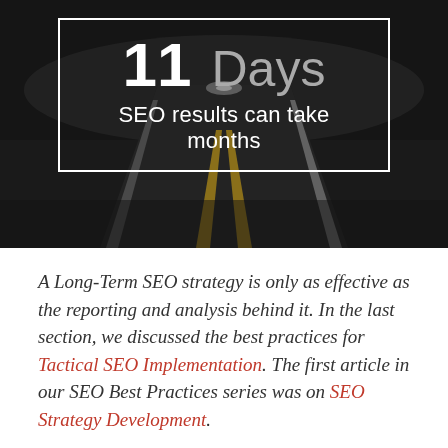[Figure (photo): Dark asphalt road receding into the distance with yellow center-lane markings, photographed at night or in dim light, forming the background of the hero section.]
11 Days
SEO results can take months
A Long-Term SEO strategy is only as effective as the reporting and analysis behind it. In the last section, we discussed the best practices for Tactical SEO Implementation. The first article in our SEO Best Practices series was on SEO Strategy Development.